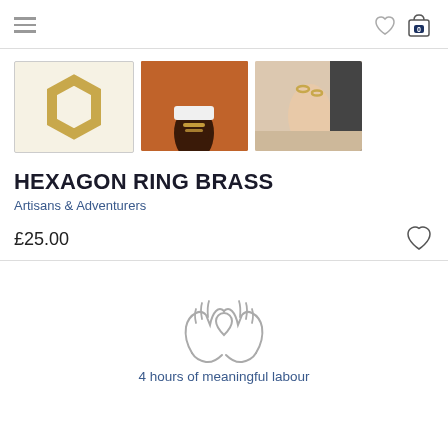Navigation header with hamburger menu, heart/wishlist icon, and shopping bag with 0 items
[Figure (photo): Three product photos: first shows a gold hexagon ring on white background (selected/highlighted), second shows a dark-skinned hand holding something on a beach in an orange dress, third shows a light-skinned hand with rings on hip.]
HEXAGON RING BRASS
Artisans & Adventurers
£25.00
[Figure (illustration): Icon of two hands cupping a heart, outlined in gray, representing meaningful labour]
4 hours of meaningful labour